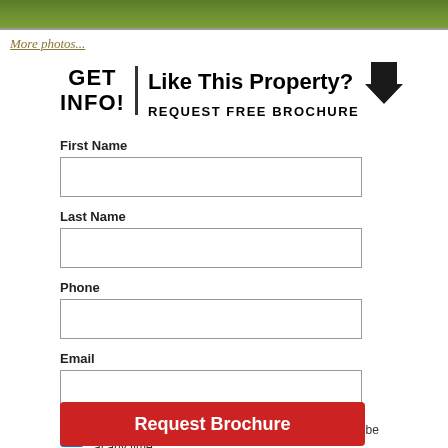[Figure (photo): Grass/lawn photo strip at top of page]
More photos...
GET INFO! Like This Property? REQUEST FREE BROCHURE
First Name
Last Name
Phone
Email
Receive additional information via email. Unsubscribe at any time.
Request Brochure